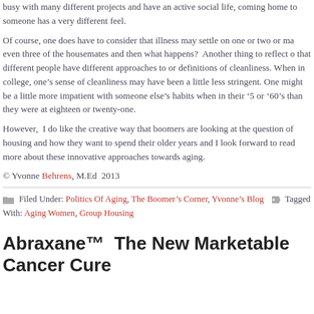busy with many different projects and have an active social life, coming home to someone has a very different feel.
Of course, one does have to consider that illness may settle on one or two or ma even three of the housemates and then what happens? Another thing to reflect o that different people have different approaches to or definitions of cleanliness. When in college, one’s sense of cleanliness may have been a little less stringent. One might be a little more impatient with someone else’s habits when in their ‘50 or ‘60’s than they were at eighteen or twenty-one.
However, I do like the creative way that boomers are looking at the question of housing and how they want to spend their older years and I look forward to read more about these innovative approaches towards aging.
© Yvonne Behrens, M.Ed 2013
Filed Under: Politics Of Aging, The Boomer’s Corner, Yvonne’s Blog Tagged With: Aging Women, Group Housing
Abraxane™ The New Marketable Cancer Cure